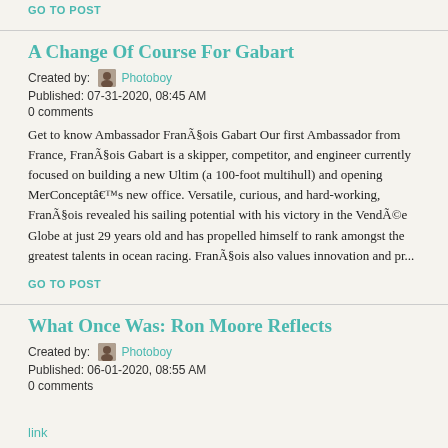GO TO POST
A Change Of Course For Gabart
Created by: Photoboy
Published: 07-31-2020, 08:45 AM
0 comments
Get to know Ambassador FranÃ§ois Gabart Our first Ambassador from France, FranÃ§ois Gabart is a skipper, competitor, and engineer currently focused on building a new Ultim (a 100-foot multihull) and opening MerConceptâ€™s new office. Versatile, curious, and hard-working, FranÃ§ois revealed his sailing potential with his victory in the VendÃ©e Globe at just 29 years old and has propelled himself to rank amongst the greatest talents in ocean racing. FranÃ§ois also values innovation and pr...
GO TO POST
What Once Was: Ron Moore Reflects
Created by: Photoboy
Published: 06-01-2020, 08:55 AM
0 comments
link
Santa Cruz Cinematographer Tim McTighe put together a 9...